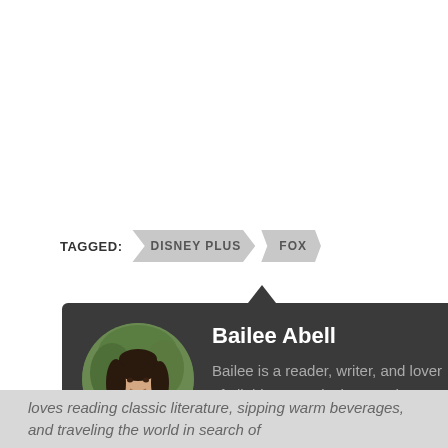TAGGED:
DISNEY PLUS
FOX
Bailee Abell
Bailee is a reader, writer, and lover of all things magical. A Southern Californian with a passion for theme parks, she loves reading classic literature, sipping warm beverages, and traveling the world in search of
[Figure (photo): Circular portrait photo of Bailee Abell, a woman with long dark hair holding a teacup, with green foliage in the background]